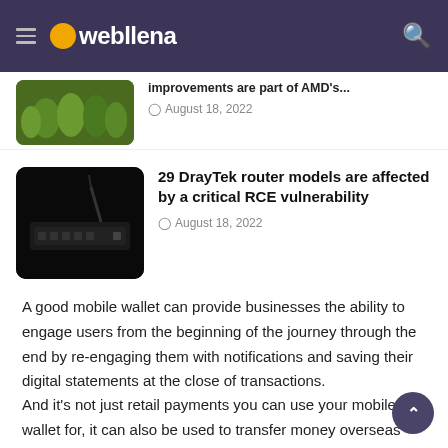webllena
[Figure (photo): Partial thumbnail of an article showing green figures/characters]
improvements are part of AMD's…  August 18, 2022
[Figure (photo): Black DrayTek router with antenna on dark background]
29 DrayTek router models are affected by a critical RCE vulnerability
August 18, 2022
A good mobile wallet can provide businesses the ability to engage users from the beginning of the journey through the end by re-engaging them with notifications and saving their digital statements at the close of transactions.
And it's not just retail payments you can use your mobile wallet for, it can also be used to transfer money overseas without any hefty bank fees. Websites such as TransferGo